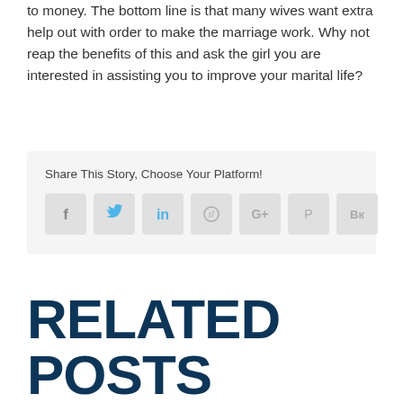to money. The bottom line is that many wives want extra help out with order to make the marriage work. Why not reap the benefits of this and ask the girl you are interested in assisting you to improve your marital life?
Share This Story, Choose Your Platform!
[Figure (infographic): Social media sharing buttons: Facebook, Twitter, LinkedIn, Reddit, Google+, Pinterest, VK]
RELATED
POSTS